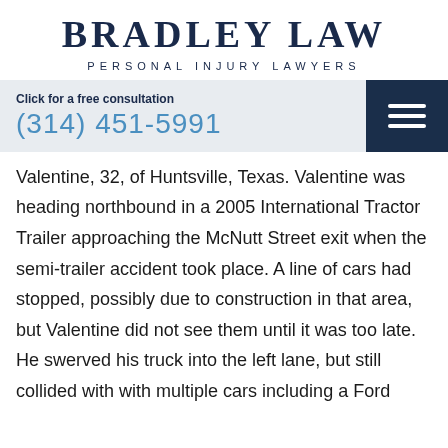Bradley Law
Personal Injury Lawyers
Click for a free consultation
(314) 451-5991
Valentine, 32, of Huntsville, Texas. Valentine was heading northbound in a 2005 International Tractor Trailer approaching the McNutt Street exit when the semi-trailer accident took place. A line of cars had stopped, possibly due to construction in that area, but Valentine did not see them until it was too late. He swerved his truck into the left lane, but still collided with with multiple cars including a Ford